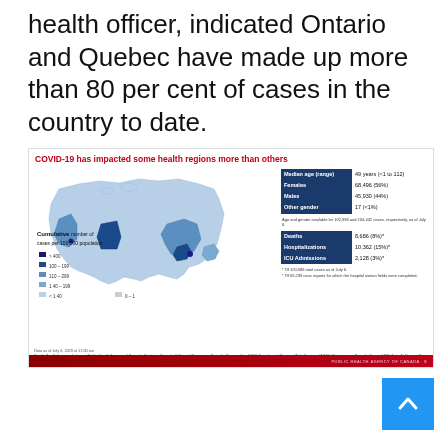health officer, indicated Ontario and Quebec have made up more than 80 per cent of cases in the country to date.
[Figure (map): Map of Canada showing cumulative number of cases per 100,000 population by health region, with statistics table showing median age, gender breakdown, deaths, hospitalizations, and ICU admissions. Data as of July 6, 2020.]